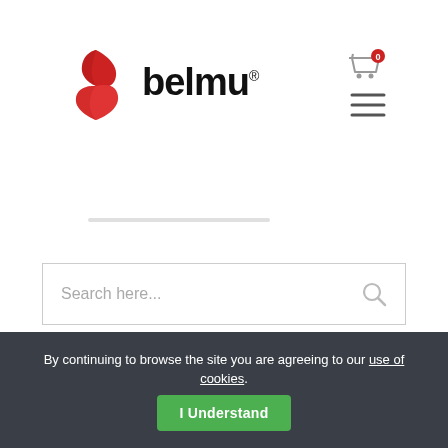[Figure (logo): Belmu logo: red stylized B shape on the left, 'belmu' wordmark in bold black with registered trademark symbol]
[Figure (other): Shopping cart icon with red badge showing '0']
[Figure (other): Hamburger menu icon (three horizontal lines)]
[Figure (other): Decorative horizontal gray bar]
Search here...
By continuing to browse the site you are agreeing to our use of cookies.
I Understand